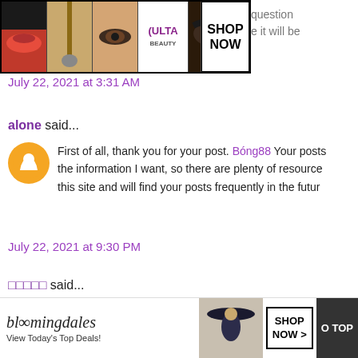[Figure (screenshot): Advertisement banner for ULTA beauty with makeup/model images and SHOP NOW button]
question
e it will be
July 22, 2021 at 3:31 AM
alone said...
First of all, thank you for your post. Bóng88 Your posts the information I want, so there are plenty of resource this site and will find your posts frequently in the futur
July 22, 2021 at 9:30 PM
□□□□□ said...
I'm writing on this topic these days, , but I have stopped reference material. Then I accidentally found your artic materials. so I think the work I was prep will work!
[Figure (screenshot): Bloomingdale's advertisement with SHOP NOW button and model with hat. CLOSE button overlay visible.]